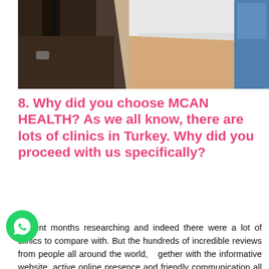[Figure (photo): A person in a fitness/health setting, partially showing torso and arms, with a blue background element on the right side.]
8. Why did you choose MCAN HEALTH? As we all know, there are lots of clinics in Turkey. Why did you proceed with us specifically?
I spent months researching and indeed there were a lot of clinics to compare with. But the hundreds of incredible reviews from people all around the world, together with the informative website, active online presence and friendly communication all together made my decision to go with MCAN very easy.